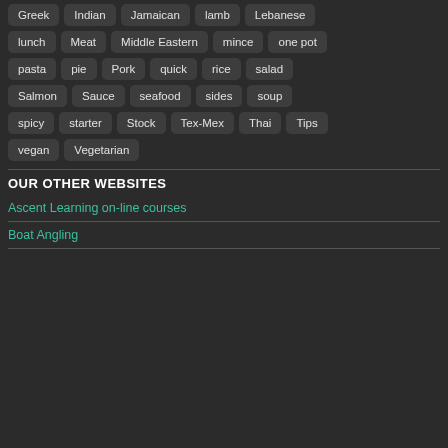Greek
Indian
Jamaican
lamb
Lebanese
lunch
Meat
Middle Eastern
mince
one pot
pasta
pie
Pork
quick
rice
salad
Salmon
Sauce
seafood
sides
soup
spicy
starter
Stock
Tex-Mex
Thai
Tips
vegan
Vegetarian
OUR OTHER WEBSITES
Ascent Learning on-line courses
Boat Angling